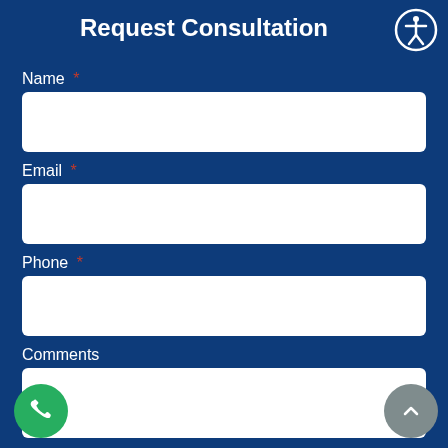Request Consultation
Name *
Email *
Phone *
Comments